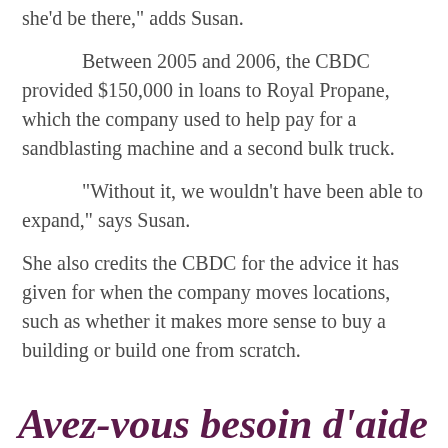she'd be there,” adds Susan.
Between 2005 and 2006, the CBDC provided $150,000 in loans to Royal Propane, which the company used to help pay for a sandblasting machine and a second bulk truck.
“Without it, we wouldn’t have been able to expand,” says Susan.
She also credits the CBDC for the advice it has given for when the company moves locations, such as whether it makes more sense to buy a building or build one from scratch.
Avez-vous besoin d’aide